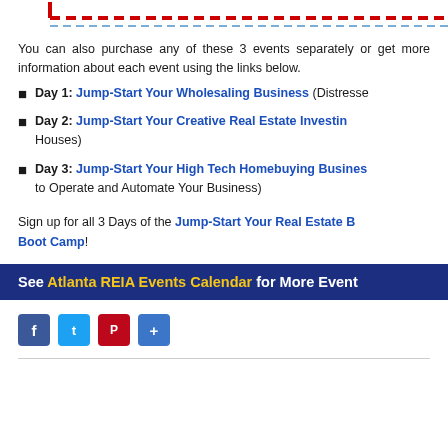[Figure (other): Red dashed border line at top of page]
You can also purchase any of these 3 events separately or get more information about each event using the links below.
Day 1: Jump-Start Your Wholesaling Business (Distressed Properties/Houses)
Day 2: Jump-Start Your Creative Real Estate Investing (Buying Houses)
Day 3: Jump-Start Your High Tech Homebuying Business (Using Technology to Operate and Automate Your Business)
Sign up for all 3 Days of the Jump-Start Your Real Estate Boot Camp!
See Atlanta REIA Events Calendar for More Events
[Figure (other): Social media share buttons: Facebook, Twitter, Pinterest, Share]